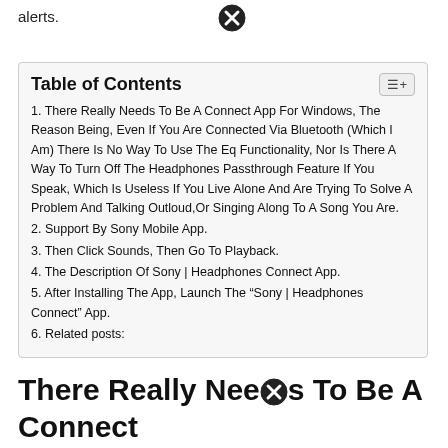alerts.
| # | Title |
| --- | --- |
| 1. | There Really Needs To Be A Connect App For Windows, The Reason Being, Even If You Are Connected Via Bluetooth (Which I Am) There Is No Way To Use The Eq Functionality, Nor Is There A Way To Turn Off The Headphones Passthrough Feature If You Speak, Which Is Useless If You Live Alone And Are Trying To Solve A Problem And Talking Outloud,Or Singing Along To A Song You Are. |
| 2. | Support By Sony Mobile App. |
| 3. | Then Click Sounds, Then Go To Playback. |
| 4. | The Description Of Sony | Headphones Connect App. |
| 5. | After Installing The App, Launch The “Sony | Headphones Connect” App. |
| 6. | Related posts: |
There Really Needs To Be A Connect